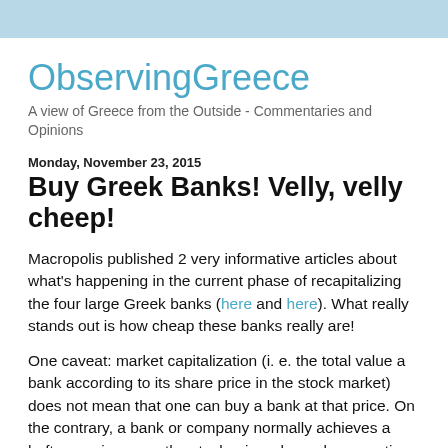ObservingGreece
A view of Greece from the Outside - Commentaries and Opinions
Monday, November 23, 2015
Buy Greek Banks! Velly, velly cheep!
Macropolis published 2 very informative articles about what's happening in the current phase of recapitalizing the four large Greek banks (here and here). What really stands out is how cheap these banks really are!
One caveat: market capitalization (i. e. the total value a bank according to its share price in the stock market) does not mean that one can buy a bank at that price. On the contrary, a bank or company normally achieves a hefty premium over the stock price whan a large portion and/or majority is sold. On the other hand, there are cases where investors are only